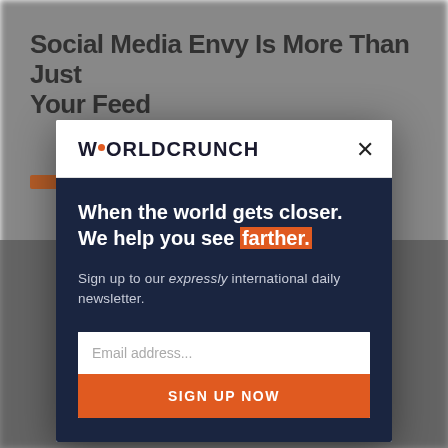[Figure (screenshot): Blurred background showing a news website with article headline 'Social Media Envy Is More Than Just Your Feed' and editorial image of people]
WORLDCRUNCH
×
When the world gets closer. We help you see farther.
Sign up to our expressly international daily newsletter.
Email address...
SIGN UP NOW